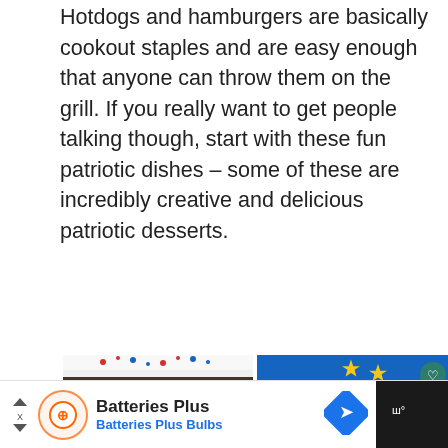Hotdogs and hamburgers are basically cookout staples and are easy enough that anyone can throw them on the grill. If you really want to get people talking though, start with these fun patriotic dishes – some of these are incredibly creative and delicious patriotic desserts.
[Figure (photo): Left: Stacked ice cream sandwich cake with layers of chocolate wafers, pink and blue ice cream, topped with white whipped cream and red, white and blue sprinkles. Right: Star-shaped Rice Krispie treats on red striped straws in a red mason jar against a blue background, with a heart icon and share button overlay, and a 'What's Next' callout for '25+ Decadent Caramel &...'.]
[Figure (photo): Bottom row of patriotic food photos, partially visible.]
Batteries Plus
Batteries Plus Bulbs